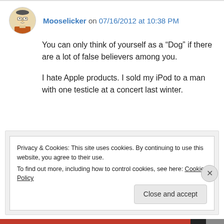Mooselicker on 07/16/2012 at 10:38 PM
You can only think of yourself as a “Dog” if there are a lot of false believers among you.
I hate Apple products. I sold my iPod to a man with one testicle at a concert last winter.
└ Reply
Privacy & Cookies: This site uses cookies. By continuing to use this website, you agree to their use.
To find out more, including how to control cookies, see here: Cookie Policy
Close and accept